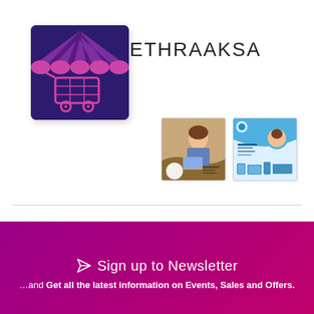[Figure (logo): Ethraaksa logo: dark purple background with pink/purple striped awning at top and pink shopping cart icon below]
ETHRAAKSA
[Figure (photo): Thumbnail image 1: promotional flyer showing a woman with laptop and decorative design elements]
[Figure (photo): Thumbnail image 2: promotional flyer with blue design, woman, and devices]
...and Get all the latest information on Events, Sales and Offers.
Sign up to Newsletter